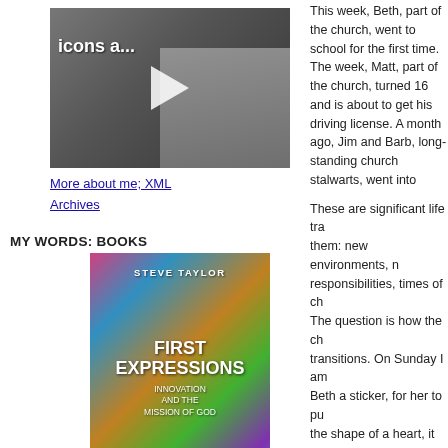[Figure (screenshot): Video thumbnail with play button, showing blurred person in background, label 'icons a...' in white text]
More about me; XML Archives
MY WORDS: BOOKS
[Figure (photo): Book cover: Steve Taylor, First Expressions, Innovation and the Mission of God — colorful abstract paint background]
First Expressions (order here)
Built for change:practical theology (order here)
[Figure (photo): Book cover: Built for Change — blue and white cover with colorful figures]
This week, Beth, part of the church, went to school for the first time. The week, Matt, part of the church, turned 16 and is about to get his driving license. A month ago, Jim and Barb, long-standing church stalwarts, went into retirement.
These are significant life transitions and there is much happening in them: new environments, new freedoms, new social groupings, new responsibilities, times of change, of loss and of new possibilities. The question is how the church can be present in these life transitions. On Sunday I am going to give Beth a sticker, for her to put on her school bag. In the shape of a heart, it can communicate the love of God and the love of the church.
going to school
getting a driving license
retiring and retirement ho
What other key life transitions could the church be honouring?
If we live in a spiritually alert way, then the mission of the church can engage the spirituality of these life trans